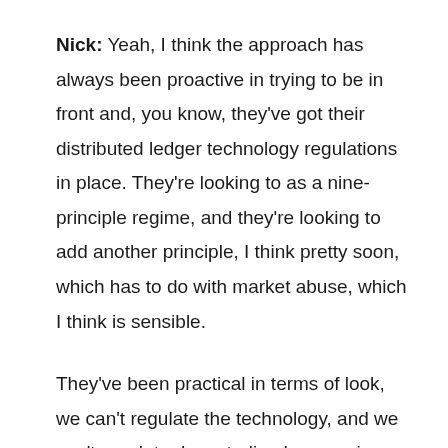Nick: Yeah, I think the approach has always been proactive in trying to be in front and, you know, they've got their distributed ledger technology regulations in place. They're looking to as a nine-principle regime, and they're looking to add another principle, I think pretty soon, which has to do with market abuse, which I think is sensible.
They've been practical in terms of look, we can't regulate the technology, and we can't regulate decentralized currencies. What we can do is regulate the actors. I think that's been a pretty small way to move forward. I think we have to be realistic about